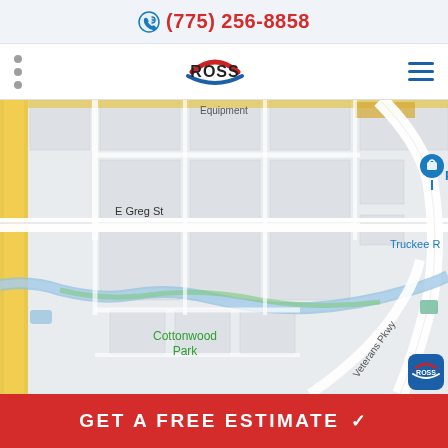(775) 256-8858
[Figure (logo): Ross company logo with red and blue swoosh design]
[Figure (map): Google Maps view showing E Greg St, Petro Travel Center, Cottonwood Park, Truckee River, and Veterans Pkwy in the local area]
GET A FREE ESTIMATE ✓